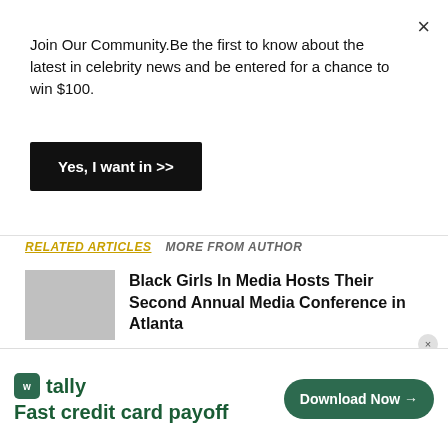Join Our Community.Be the first to know about the latest in celebrity news and be entered for a chance to win $100.
Yes, I want in >>
RELATED ARTICLES   MORE FROM AUTHOR
Black Girls In Media Hosts Their Second Annual Media Conference in Atlanta
World Renown Plastic Surgeon Dr. Voskin and his Goals Plastic Surgery Brand Discuss their new Reality Show
[Figure (screenshot): infolinks label bar]
[Figure (screenshot): Tally advertisement banner with 'Fast credit card payoff' tagline and 'Download Now' button]